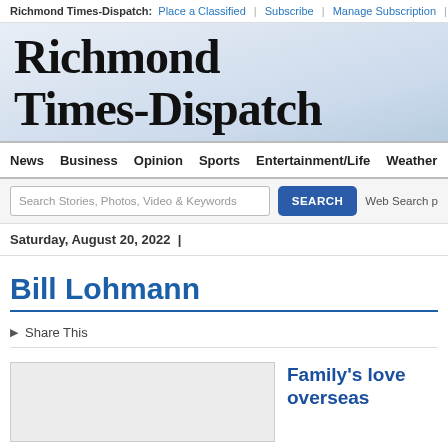Richmond Times-Dispatch: Place a Classified | Subscribe | Manage Subscription |
[Figure (logo): Richmond Times-Dispatch masthead logo in blackletter/gothic font on light blue gradient background]
News  Business  Opinion  Sports  Entertainment/Life  Weather
Search Stories, Photos, Video & Keywords  SEARCH  Web Search p
Saturday, August 20, 2022  |
Bill Lohmann
Share This
Family's love overseas